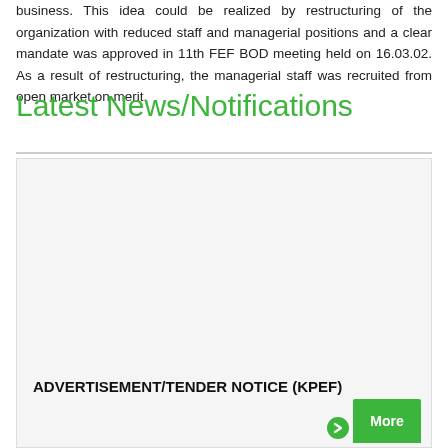business. This idea could be realized by restructuring of the organization with reduced staff and managerial positions and a clear mandate was approved in 11th FEF BOD meeting held on 16.03.02. As a result of restructuring, the managerial staff was recruited from open market on merit.
Latest News/Notifications
[Figure (other): A notification card with light gray background containing an advertisement/tender notice titled 'ADVERTISEMENT/TENDER NOTICE (KPEF)' and a green 'More' button in the bottom right corner.]